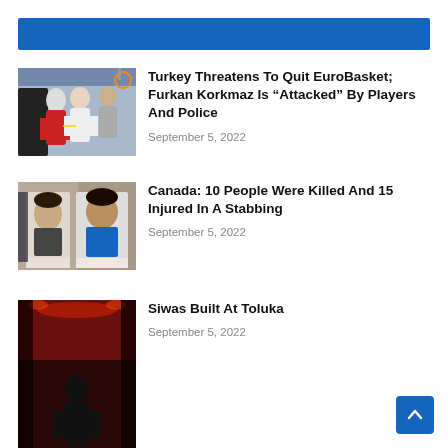Turkey Threatens To Quit EuroBasket; Furkan Korkmaz Is “Attacked” By Players And Police
September 5, 2022
Canada: 10 People Were Killed And 15 Injured In A Stabbing
September 5, 2022
Siwas Built At Toluka
September 5, 2022